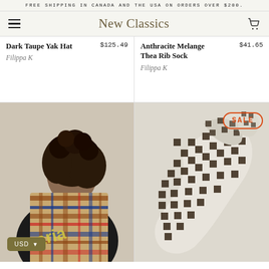FREE SHIPPING IN CANADA AND THE USA ON ORDERS OVER $200.
New Classics
Dark Taupe Yak Hat   $125.49
Filippa K
Anthracite Melange Thea Rib Sock   $41.65
Filippa K
[Figure (photo): Woman wearing a colorful plaid/tartan scarf with gold lettering over a black top, side profile view]
[Figure (photo): Black and white gingham/checkered scarf tied in a knot, SALE badge in top right corner]